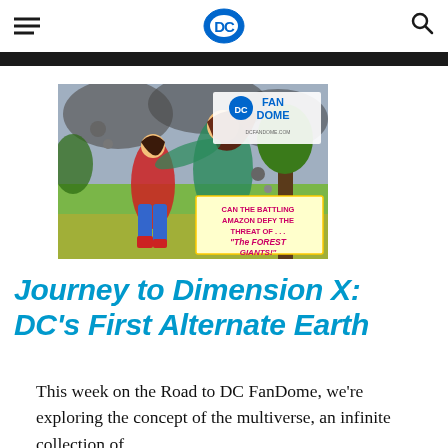DC [logo] [menu] [search]
[Figure (illustration): Comic book cover art showing Wonder Woman battling a large creature, with text 'CAN THE BATTLING AMAZON DEFY THE THREAT OF... The FOREST GIANTS!' and DC FanDome logo overlay]
Journey to Dimension X: DC's First Alternate Earth
This week on the Road to DC FanDome, we're exploring the concept of the multiverse, an infinite collection of